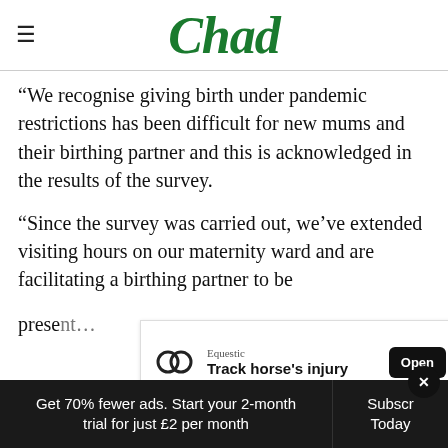Chad
“We recognise giving birth under pandemic restrictions has been difficult for new mums and their birthing partner and this is acknowledged in the results of the survey.
“Since the survey was carried out, we’ve extended visiting hours on our maternity ward and are facilitating a birthing partner to be present…
[Figure (screenshot): Advertisement banner for Equestic app: Track horse's injury, with Open button]
Get 70% fewer ads. Start your 2-month trial for just £2 per month
Subscribe Today